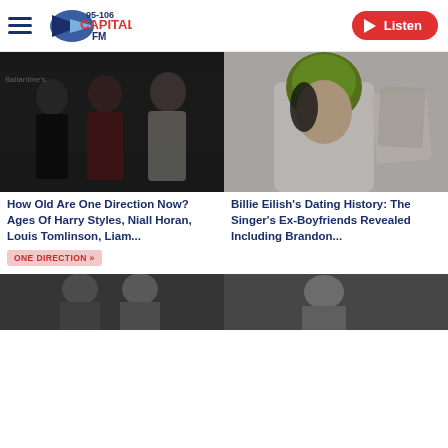Capital FM 95-106 | Listen
[Figure (photo): One Direction members group photo at event with Ballantine's branding backdrop]
How Old Are One Direction Now? Ages Of Harry Styles, Niall Horan, Louis Tomlinson, Liam...
ONE DIRECTION »
[Figure (photo): Billie Eilish with green hair in white jacket, holding photos]
Billie Eilish's Dating History: The Singer's Ex-Boyfriends Revealed Including Brandon...
[Figure (photo): Partially visible article thumbnail bottom left]
[Figure (photo): Partially visible article thumbnail bottom right]